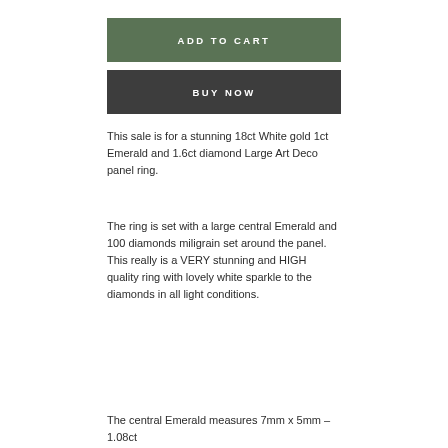ADD TO CART
BUY NOW
This sale is for a stunning 18ct White gold 1ct Emerald and 1.6ct diamond Large Art Deco panel ring.
The ring is set with a large central Emerald and 100 diamonds miligrain set around the panel. This really is a VERY stunning and HIGH quality ring with lovely white sparkle to the diamonds in all light conditions.
The central Emerald measures 7mm x 5mm – 1.08ct